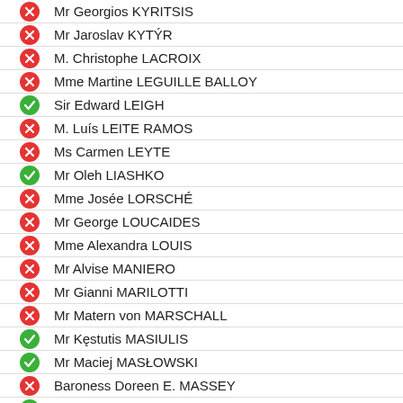Mr Georgios KYRITSIS
Mr Jaroslav KYTÝR
M. Christophe LACROIX
Mme Martine LEGUILLE BALLOY
Sir Edward LEIGH
M. Luís LEITE RAMOS
Ms Carmen LEYTE
Mr Oleh LIASHKO
Mme Josée LORSCHÉ
Mr George LOUCAIDES
Mme Alexandra LOUIS
Mr Alvise MANIERO
Mr Gianni MARILOTTI
Mr Matern von MARSCHALL
Mr Kęstutis MASIULIS
Mr Maciej MASŁOWSKI
Baroness Doreen E. MASSEY
M. Marianne MIKKO